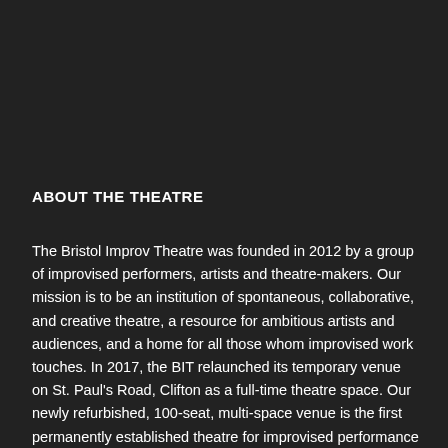ABOUT THE THEATRE
The Bristol Improv Theatre was founded in 2012 by a group of improvised performers, artists and theatre-makers. Our mission is to be an institution of spontaneous, collaborative, and creative theatre, a resource for ambitious artists and audiences, and a home for all those whom improvised work touches. In 2017, the BIT relaunched its temporary venue on St. Paul's Road, Clifton as a full-time theatre space. Our newly refurbished, 100-seat, multi-space venue is the first permanently established theatre for improvised performance in the UK. You can interact with and watch improvised theatre and comedy shows streamed live from our online Twitch Channel and learn improvisation both online and in person under Government